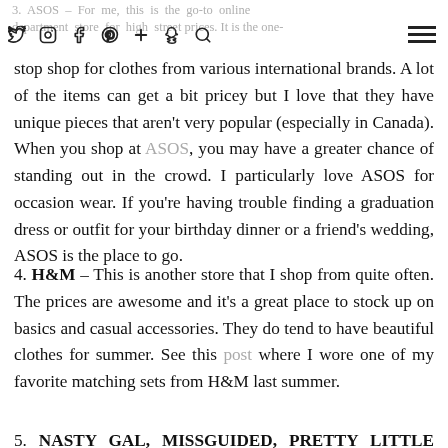3. ASOS – For me, this is the go-to online department store for high street prices. It is the one-stop shop for clothes from various international brands.
3. ASOS – For me, this is the go-to online department store for high street prices. It is the one-stop shop for clothes from various international brands. A lot of the items can get a bit pricey but I love that they have unique pieces that aren't very popular (especially in Canada). When you shop at ASOS, you may have a greater chance of standing out in the crowd. I particularly love ASOS for occasion wear. If you're having trouble finding a graduation dress or outfit for your birthday dinner or a friend's wedding, ASOS is the place to go.
4. H&M – This is another store that I shop from quite often. The prices are awesome and it's a great place to stock up on basics and casual accessories. They do tend to have beautiful clothes for summer. See this post where I wore one of my favorite matching sets from H&M last summer.
5. NASTY GAL, MISSGUIDED, PRETTY LITTLE THING &